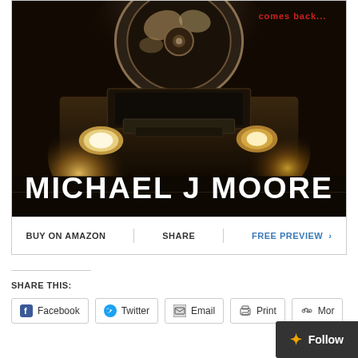[Figure (illustration): Book cover for a thriller/horror novel by Michael J Moore, featuring a vintage car with headlights on, dark moody background, chrome wheel detail, red text reading 'comes back...' at the top, and large white gothic text 'MICHAEL J MOORE' at the bottom]
BUY ON AMAZON | SHARE | FREE PREVIEW >
SHARE THIS:
Facebook  Twitter  Email  Print  More  Follow